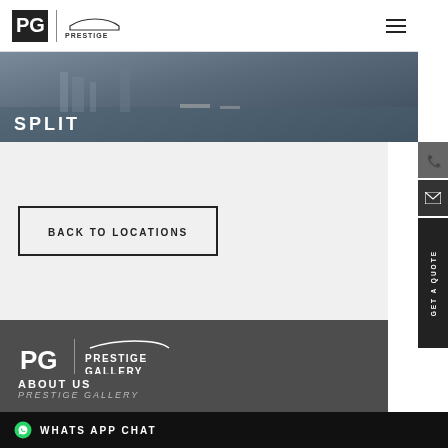Prestige Gallery logo and hamburger menu
[Figure (photo): Aerial view of Split harbor/marina with boats, dark toned image with SPLIT text overlay]
BACK TO LOCATIONS
[Figure (logo): Prestige Gallery logo in white on dark background]
ABOUT US
PRESTIGE GALLERY
WHATS APP CHAT